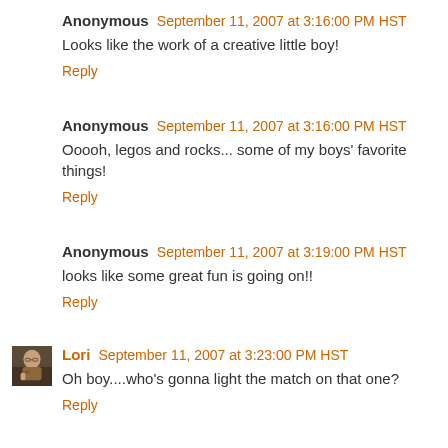Anonymous September 11, 2007 at 3:16:00 PM HST
Looks like the work of a creative little boy!
Reply
Anonymous September 11, 2007 at 3:16:00 PM HST
Ooooh, legos and rocks... some of my boys' favorite things!
Reply
Anonymous September 11, 2007 at 3:19:00 PM HST
looks like some great fun is going on!!
Reply
[Figure (photo): Small avatar thumbnail of user Lori]
Lori September 11, 2007 at 3:23:00 PM HST
Oh boy....who's gonna light the match on that one?
Reply